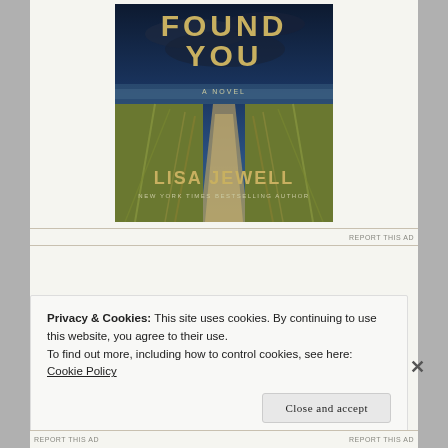[Figure (illustration): Book cover for 'Found You' by Lisa Jewell — a novel. Shows a beach path through tall grasses with a dramatic dark blue cloudy sky. Title text 'FOUND YOU' in gold/tan letters, subtitle 'A NOVEL', author name 'LISA JEWELL' in gold letters, tagline 'NEW YORK TIMES BESTSELLING AUTHOR'.]
REPORT THIS AD
Privacy & Cookies: This site uses cookies. By continuing to use this website, you agree to their use.
To find out more, including how to control cookies, see here: Cookie Policy
Close and accept